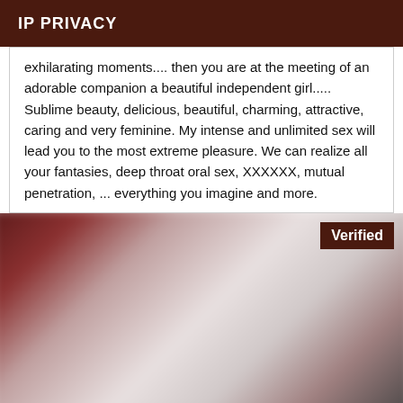IP PRIVACY
exhilarating moments.... then you are at the meeting of an adorable companion a beautiful independent girl..... Sublime beauty, delicious, beautiful, charming, attractive, caring and very feminine. My intense and unlimited sex will lead you to the most extreme pleasure. We can realize all your fantasies, deep throat oral sex, XXXXXX, mutual penetration, ... everything you imagine and more.
[Figure (photo): Blurred/obscured photo with a Verified badge overlay in the top right corner]